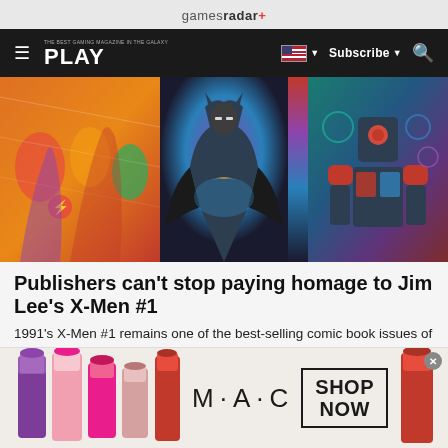gamesradar+
[Figure (screenshot): Navigation bar with hamburger menu, PLAY magazine logo, US flag dropdown, Subscribe button, and search icon on dark background]
[Figure (illustration): Comic book hero image showing colorful superhero characters including Batman and other DC/Marvel characters]
Publishers can't stop paying homage to Jim Lee's X-Men #1
1991's X-Men #1 remains one of the best-selling comic book issues of all time, thanks in large part to Jim Lee's...
GamesRadar
[Figure (photo): MAC cosmetics advertisement showing colorful lipsticks, MAC logo, and SHOP NOW button]